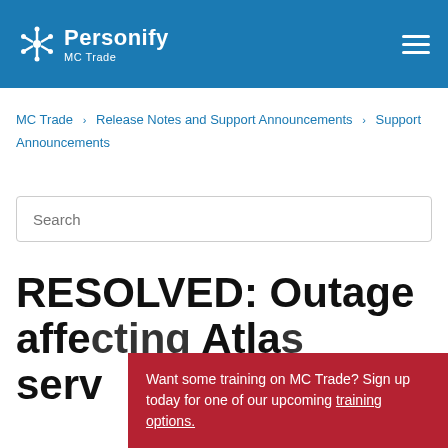Personify MC Trade
MC Trade › Release Notes and Support Announcements › Support Announcements
Search
RESOLVED: Outage affecting Atlas serv
Want some training on MC Trade? Sign up today for one of our upcoming training options.